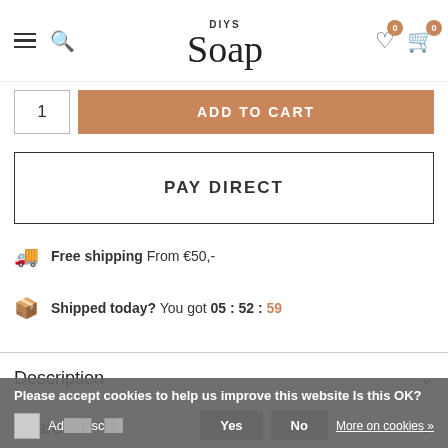DIYS Soap - navigation bar with hamburger menu, search icon, logo, heart icon (0), cart icon (0)
1  ADD TO CART
PAY DIRECT
Free shipping From €50,-
Shipped today? You got 05 : 52 : 59
Description
Share
Please accept cookies to help us improve this website Is this OK?
Ad... sc...  Yes  No  More on cookies »